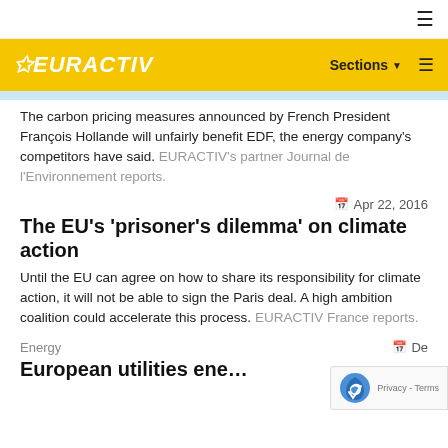EURACTIV — Sections
The carbon pricing measures announced by French President François Hollande will unfairly benefit EDF, the energy company's competitors have said. EURACTIV's partner Journal de l'Environnement reports.
Apr 22, 2016
The EU's 'prisoner's dilemma' on climate action
Until the EU can agree on how to share its responsibility for climate action, it will not be able to sign the Paris deal. A high ambition coalition could accelerate this process. EURACTIV France reports.
Energy  De…